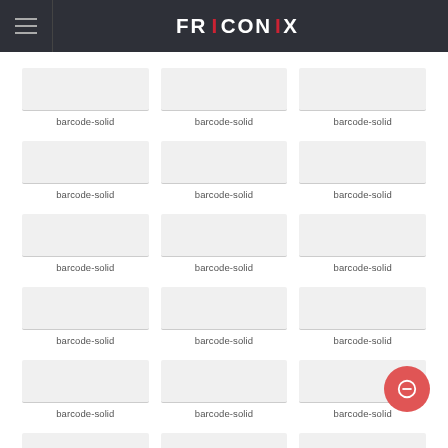FRICONIX
[Figure (screenshot): Grid of icon placeholder cards, each labeled 'barcode-solid', arranged in 3 columns and 7 rows, with a red circular FAB button in the bottom-right corner.]